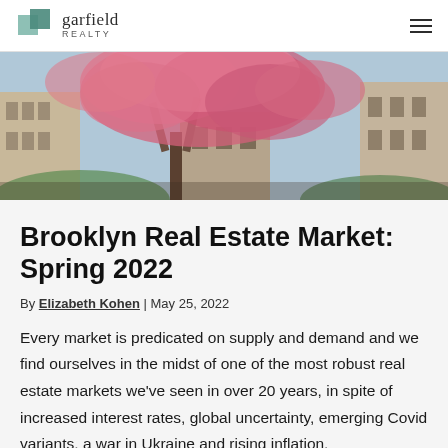garfield REALTY
[Figure (photo): Street-level view of New York brownstone buildings with a blooming pink cherry blossom tree in the foreground against a bright sky.]
Brooklyn Real Estate Market: Spring 2022
By Elizabeth Kohen | May 25, 2022
Every market is predicated on supply and demand and we find ourselves in the midst of one of the most robust real estate markets we've seen in over 20 years, in spite of increased interest rates, global uncertainty, emerging Covid variants, a war in Ukraine and rising inflation.